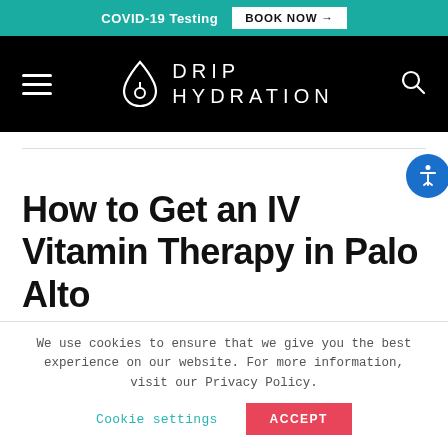COVID-19 Testing  BOOK NOW →
[Figure (logo): Drip Hydration logo with water drop icon and navigation bar on black background]
How to Get an IV Vitamin Therapy in Palo Alto
We use cookies to ensure that we give you the best experience on our website. For more information, visit our Privacy Policy.
Cookie settings  ACCEPT